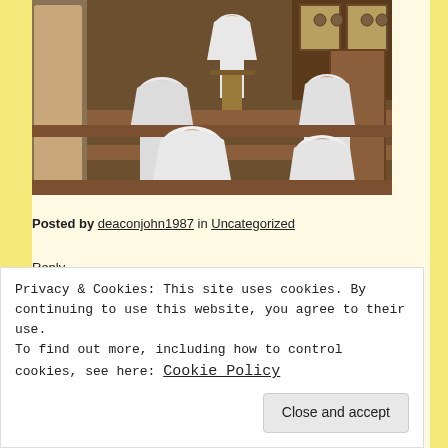[Figure (photo): Photo of several nuns dressed in white habits sitting in wooden church pews, with one nun standing at a lectern/podium in the background. The setting is a church interior with wooden paneling and decorative windows.]
Posted by deaconjohn1987 in Uncategorized
Reply
Privacy & Cookies: This site uses cookies. By continuing to use this website, you agree to their use.
To find out more, including how to control cookies, see here: Cookie Policy
Close and accept